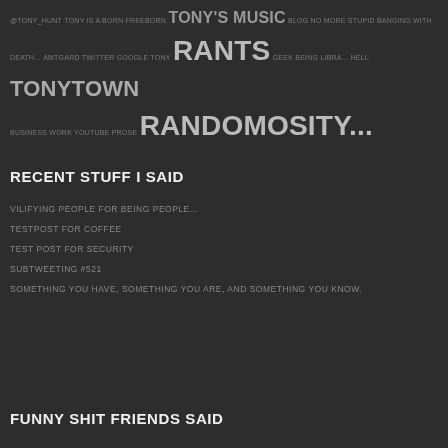@TONY_HUNT TONY IS A BORN FREEBORN TONY'S MUSIC BLOG NO MORE STUPID BANGING WITH DEATH... AMTGARD TWITTER GOOGLE TONY RANTS GEEK BEING LIBRA... HELL TONYTOWN BUSINESS WORK YOUTUBE PROSE RANDOMOSITY...
RECENT STUFF I SAID
VILIFYING PEOPLE FOR BEING PEOPLE...
TESTPOST FOR COFFEE
TEST POST FOR SECURITY
SUBTWEETING #521
SOMETHING YOU HAVE, SOMETHING YOU ARE, AND SOMETHING YOU KNOW.
FUNNY SHIT FRIENDS SAID